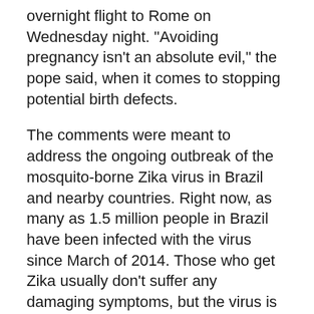overnight flight to Rome on Wednesday night. "Avoiding pregnancy isn't an absolute evil," the pope said, when it comes to stopping potential birth defects.
The comments were meant to address the ongoing outbreak of the mosquito-borne Zika virus in Brazil and nearby countries. Right now, as many as 1.5 million people in Brazil have been infected with the virus since March of 2014. Those who get Zika usually don't suffer any damaging symptoms, but the virus is potentially concerning for pregnant women. The outbreak has coincided with a recent spike in cases of microcephaly — in which infants are born with abnormally small heads. Scientists have yet to confirm if Zika is causing these birth